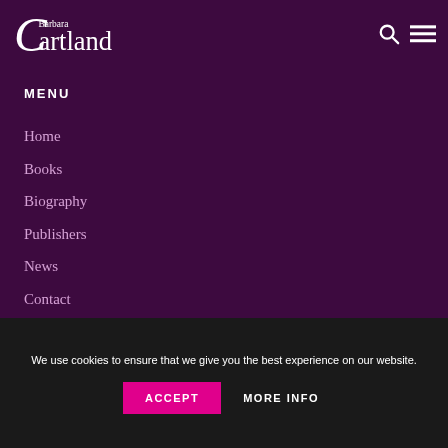[Figure (logo): Barbara Cartland logo in white text on dark purple background]
MENU
Home
Books
Biography
Publishers
News
Contact
Book Challenge
We use cookies to ensure that we give you the best experience on our website.
ACCEPT   MORE INFO